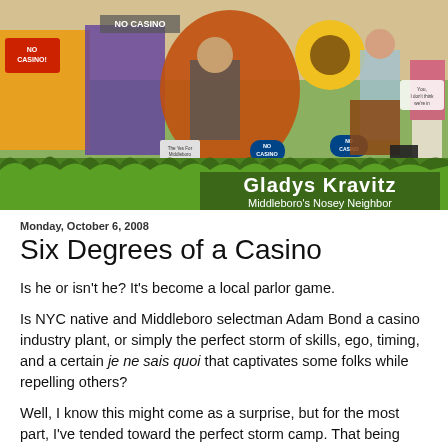[Figure (illustration): Colorful collage banner image for 'Gladys Kravitz - Middleboro's Nosey Neighbor' blog. Features anti-casino protest signs, various people, animals, sunflowers, and other imagery. Text 'NO CASINO' visible multiple times. Blog name 'Gladys Kravitz' and subtitle 'Middleboro's Nosey Neighbor' displayed at bottom right over grass foreground.]
Monday, October 6, 2008
Six Degrees of a Casino
Is he or isn't he? It's become a local parlor game.
Is NYC native and Middleboro selectman Adam Bond a casino industry plant, or simply the perfect storm of skills, ego, timing, and a certain je ne sais quoi that captivates some folks while repelling others?
Well, I know this might come as a surprise, but for the most part, I've tended toward the perfect storm camp. That being